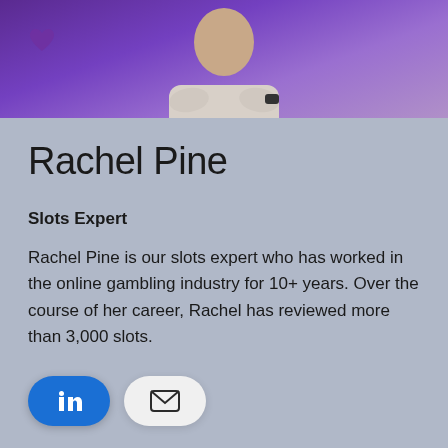[Figure (photo): Hero banner image with purple/violet gradient background and a person in a white hoodie with arms crossed, partially visible from shoulders up. A purple heart icon visible in upper left.]
Rachel Pine
Slots Expert
Rachel Pine is our slots expert who has worked in the online gambling industry for 10+ years. Over the course of her career, Rachel has reviewed more than 3,000 slots.
[Figure (other): Social media buttons: LinkedIn (blue pill button with 'in' logo) and Email (white pill button with envelope icon)]